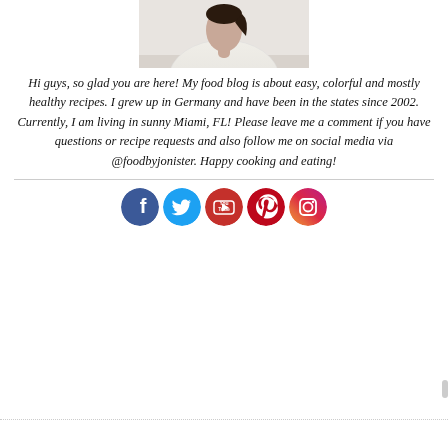[Figure (photo): Partial photo of a person wearing white clothing, cropped at top]
Hi guys, so glad you are here! My food blog is about easy, colorful and mostly healthy recipes. I grew up in Germany and have been in the states since 2002. Currently, I am living in sunny Miami, FL! Please leave me a comment if you have questions or recipe requests and also follow me on social media via @foodbyjonister. Happy cooking and eating!
[Figure (infographic): Row of five social media icons: Facebook (dark blue circle), Twitter (light blue circle), YouTube (red circle with 'You Tube' text), Pinterest (dark red circle), Instagram (purple/gradient circle)]